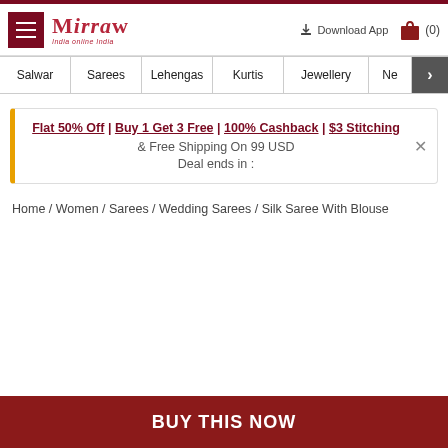Mirraw - India Online | Download App | (0)
Salwar | Sarees | Lehengas | Kurtis | Jewellery | Ne >
Flat 50% Off | Buy 1 Get 3 Free | 100% Cashback | $3 Stitching & Free Shipping On 99 USD Deal ends in :
Home / Women / Sarees / Wedding Sarees / Silk Saree With Blouse
BUY THIS NOW